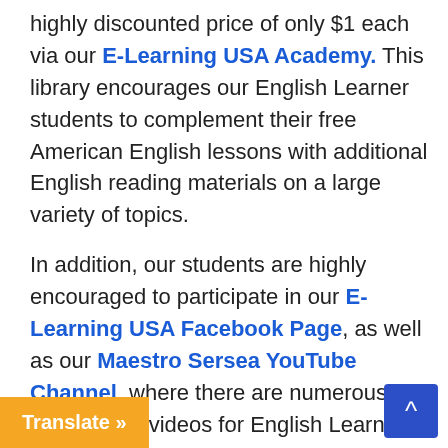highly discounted price of only $1 each via our E-Learning USA Academy. This library encourages our English Learner students to complement their free American English lessons with additional English reading materials on a large variety of topics.
In addition, our students are highly encouraged to participate in our E-Learning USA Facebook Page, as well as our Maestro Sersea YouTube Channel, where there are numerous educational videos for English Learners everywhere.
Each of our American English lessons feature helpful content that enable English Learners to directions in a simple-to-understand